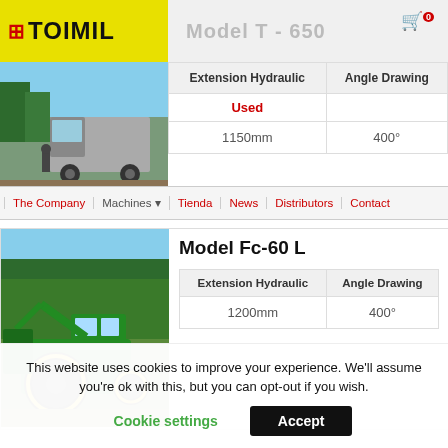TOIMIL - Model T-650 (partial)
[Figure (screenshot): Toimil logo on yellow background with red cross icon]
Model T - 650
[Figure (photo): Agricultural machinery / truck photo]
Navigation: The Company | Machines | Tienda | News | Distributors | Contact
| Extension Hydraulic | Angle Drawing |
| --- | --- |
| Used |  |
| 1150mm | 400° |
[Figure (photo): Green tractor with hydraulic arm attachment in field]
Model Fc-60 L
| Extension Hydraulic | Angle Drawing |
| --- | --- |
| 1200mm | 400° |
This website uses cookies to improve your experience. We'll assume you're ok with this, but you can opt-out if you wish.
Cookie settings  Accept